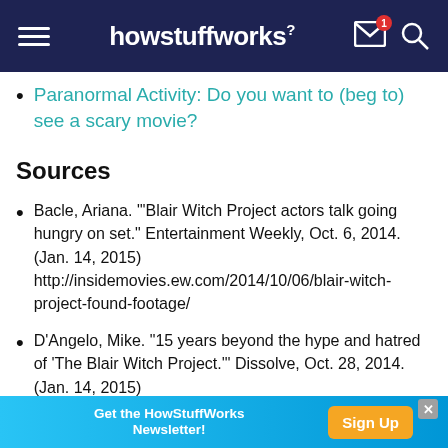howstuffworks (navigation bar with hamburger menu, mail icon with badge 1, and search icon)
Paranormal Activity: Do you want to (beg to) see a scary movie?
Sources
Bacle, Ariana. "'Blair Witch Project actors talk going hungry on set." Entertainment Weekly, Oct. 6, 2014. (Jan. 14, 2015) http://insidemovies.ew.com/2014/10/06/blair-witch-project-found-footage/
D'Angelo, Mike. "15 years beyond the hype and hatred of 'The Blair Witch Project.'" Dissolve, Oct. 28, 2014. (Jan. 14, 2015)
Get the HowStuffWorks Newsletter! Sign Up